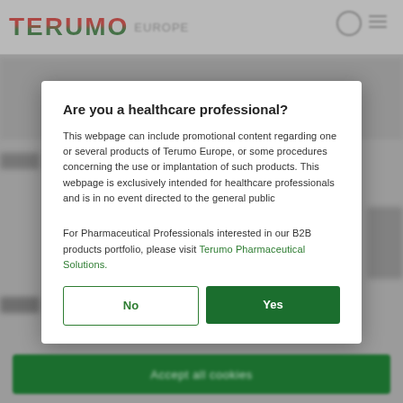[Figure (screenshot): Terumo Europe website header with logo showing 'TERUMO EUROPE' text in red and green gradient with grey 'EUROPE' suffix, navigation icons top right (search and menu), blurred background webpage content]
Are you a healthcare professional?
This webpage can include promotional content regarding one or several products of Terumo Europe, or some procedures concerning the use or implantation of such products. This webpage is exclusively intended for healthcare professionals and is in no event directed to the general public
For Pharmaceutical Professionals interested in our B2B products portfolio, please visit Terumo Pharmaceutical Solutions.
No
Yes